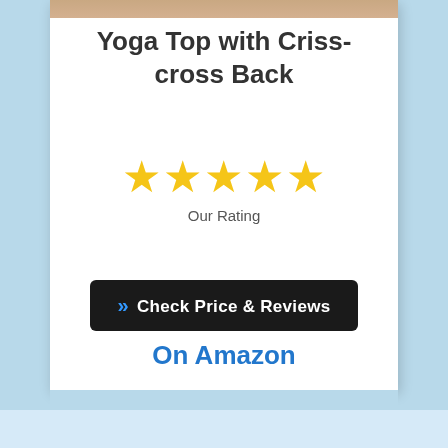[Figure (photo): Partial view of a person wearing a yoga top at the very top of the card]
Yoga Top with Criss-cross Back
[Figure (other): Five yellow star rating icons]
Our Rating
[Figure (other): Black button with blue double-arrow chevron icon and text 'Check Price & Reviews']
On Amazon